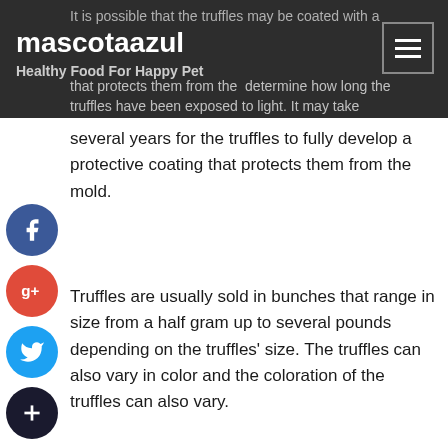mascotaazul
Healthy Food For Happy Pet
It is possible that the truffles may be coated with a that protects them from the determine how long the truffles have been exposed to light. It may take several years for the truffles to fully develop a protective coating that protects them from the mold.
Truffles are usually sold in bunches that range in size from a half gram up to several pounds depending on the truffles' size. The truffles can also vary in color and the coloration of the truffles can also vary.
Once harvested, the truffles are stored for later harvest. The truffles can be frozen after they are harvested and this makes it easier to preserve the truffles at room temperature. When the truffles are